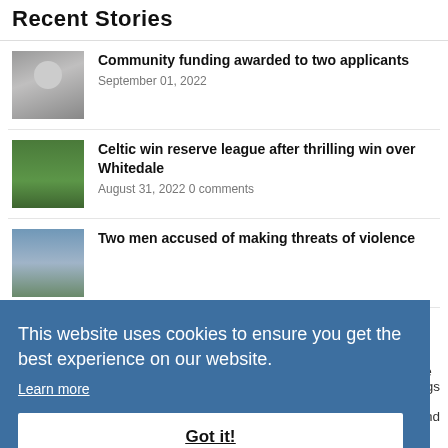Recent Stories
Community funding awarded to two applicants — September 01, 2022
Celtic win reserve league after thrilling win over Whitedale — August 31, 2022 0 comments
Two men accused of making threats of violence
This website uses cookies to ensure you get the best experience on our website. Learn more
Got it!
August 31, 2022